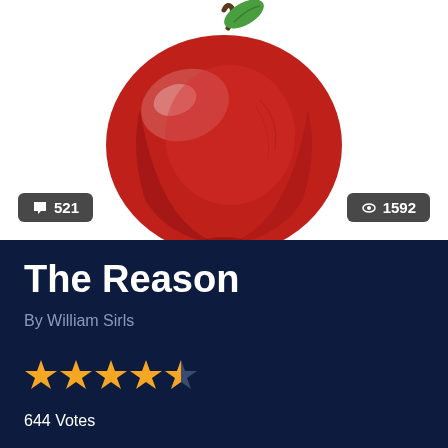[Figure (photo): A large red apple with a green leaf and brown stem on a white background]
💬 521
👁 1592
The Reason
By William Sirls
[Figure (other): 4.5 out of 5 stars rating displayed as star icons]
644 Votes